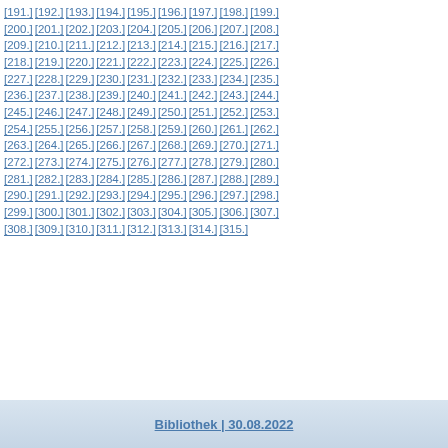[191.] [192.] [193.] [194.] [195.] [196.] [197.] [198.] [199.] [200.] [201.] [202.] [203.] [204.] [205.] [206.] [207.] [208.] [209.] [210.] [211.] [212.] [213.] [214.] [215.] [216.] [217.] [218.] [219.] [220.] [221.] [222.] [223.] [224.] [225.] [226.] [227.] [228.] [229.] [230.] [231.] [232.] [233.] [234.] [235.] [236.] [237.] [238.] [239.] [240.] [241.] [242.] [243.] [244.] [245.] [246.] [247.] [248.] [249.] [250.] [251.] [252.] [253.] [254.] [255.] [256.] [257.] [258.] [259.] [260.] [261.] [262.] [263.] [264.] [265.] [266.] [267.] [268.] [269.] [270.] [271.] [272.] [273.] [274.] [275.] [276.] [277.] [278.] [279.] [280.] [281.] [282.] [283.] [284.] [285.] [286.] [287.] [288.] [289.] [290.] [291.] [292.] [293.] [294.] [295.] [296.] [297.] [298.] [299.] [300.] [301.] [302.] [303.] [304.] [305.] [306.] [307.] [308.] [309.] [310.] [311.] [312.] [313.] [314.] [315.]
Bibliothek | 30.08.2022